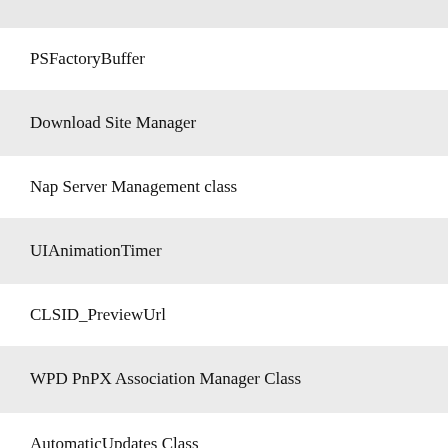PSFactoryBuffer
Download Site Manager
Nap Server Management class
UIAnimationTimer
CLSID_PreviewUrl
WPD PnPX Association Manager Class
AutomaticUpdates Class